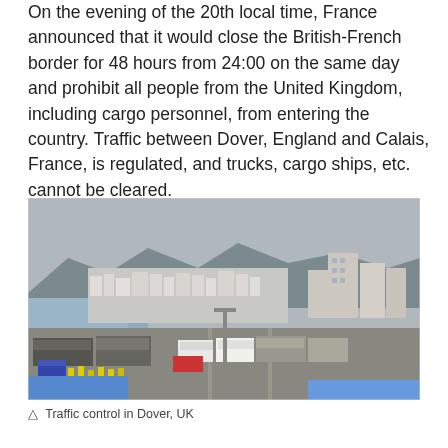On the evening of the 20th local time, France announced that it would close the British-French border for 48 hours from 24:00 on the same day and prohibit all people from the United Kingdom, including cargo personnel, from entering the country. Traffic between Dover, England and Calais, France, is regulated, and trucks, cargo ships, etc. cannot be cleared.
[Figure (photo): Aerial view of heavy traffic congestion at the port of Dover, UK. Rows of trucks, vans, and vehicles backed up along the roads near the port area. White buildings and cliffs visible in the background, overcast sky.]
△ Traffic control in Dover, UK